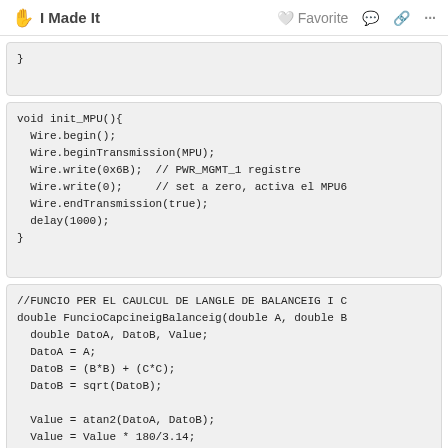I Made It   Favorite
}
void init_MPU(){
  Wire.begin();
  Wire.beginTransmission(MPU);
  Wire.write(0x6B);  // PWR_MGMT_1 registre
  Wire.write(0);     // set a zero, activa el MPU6
  Wire.endTransmission(true);
  delay(1000);
}
//FUNCIO PER EL CAULCUL DE LANGLE DE BALANCEIG I C
double FuncioCapcineigBalanceig(double A, double B
  double DatoA, DatoB, Value;
  DatoA = A;
  DatoB = (B*B) + (C*C);
  DatoB = sqrt(DatoB);

  Value = atan2(DatoA, DatoB);
  Value = Value * 180/3.14;

  return (int)Value;